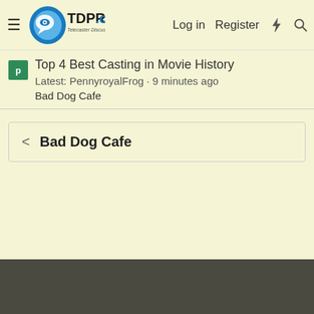TDPRI.com — Telecaster Discussion Page Reissue | Log in | Register
Top 4 Best Casting in Movie History
Latest: PennyroyalFrog · 9 minutes ago
Bad Dog Cafe
Bad Dog Cafe